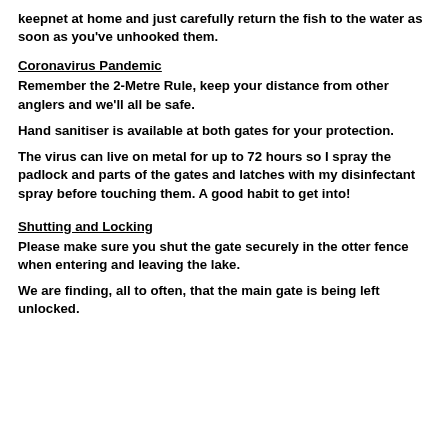keepnet at home and just carefully return the fish to the water as soon as you've unhooked them.
Coronavirus Pandemic
Remember the 2-Metre Rule, keep your distance from other anglers and we'll all be safe.
Hand sanitiser is available at both gates for your protection.
The virus can live on metal for up to 72 hours so I spray the padlock and parts of the gates and latches with my disinfectant spray before touching them. A good habit to get into!
Shutting and Locking
Please make sure you shut the gate securely in the otter fence when entering and leaving the lake.
We are finding, all to often, that the main gate is being left unlocked.